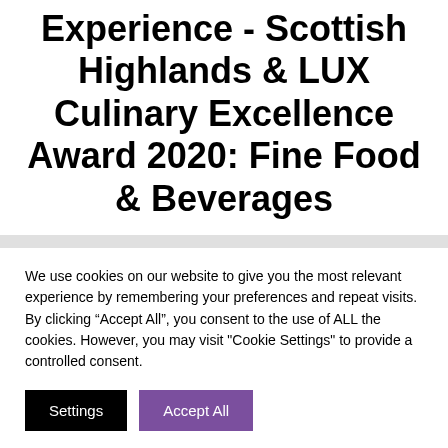Experience - Scottish Highlands & LUX Culinary Excellence Award 2020: Fine Food & Beverages
We use cookies on our website to give you the most relevant experience by remembering your preferences and repeat visits. By clicking “Accept All”, you consent to the use of ALL the cookies. However, you may visit "Cookie Settings" to provide a controlled consent.